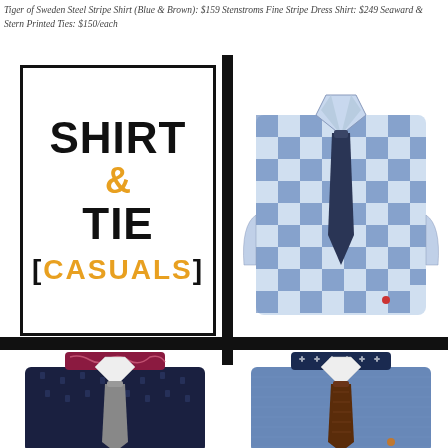Tiger of Sweden Steel Stripe Shirt (Blue & Brown): $159 Stenstroms Fine Stripe Dress Shirt: $249 Seaward & Stern Printed Ties: $150/each
[Figure (illustration): SHIRT & TIE [CASUALS] logo in black and gold/orange text inside a black border box]
[Figure (photo): Blue and white gingham check shirt folded with a dark navy tie laid on top]
[Figure (photo): Dark navy patterned casual shirt with paisley inner collar and grey tie, folded]
[Figure (photo): Blue chambray casual shirt with cross-patterned inner collar and brown knit tie, folded]